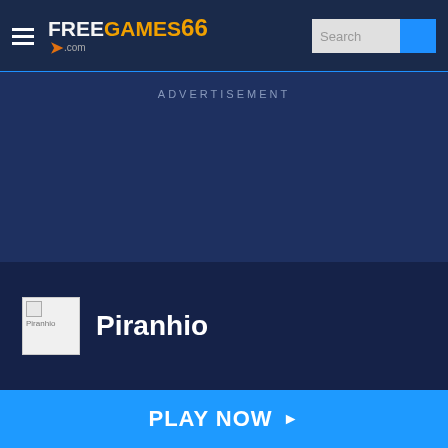FreeGames66.com — Search
ADVERTISEMENT
[Figure (screenshot): Broken image thumbnail labeled 'Piranhio' on dark blue background]
Piranhio
PLAY NOW ▶
[Figure (infographic): Social sharing icons: Twitter, Facebook, Pinterest, LinkedIn, Email]
Related games 🔥